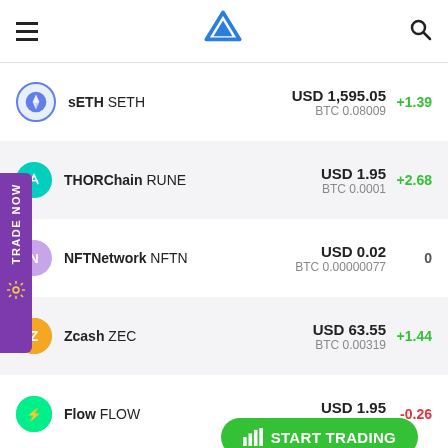App header with hamburger menu, logo, and search icon
sETH SETH — USD 1,595.05 / BTC 0.08009 — +1.39
THORChain RUNE — USD 1.95 / BTC 0.0001 — +2.68
NFTNetwork NFTN — USD 0.02 / BTC 0.00000077 — 0
Zcash ZEC — USD 63.55 / BTC 0.00319 — +1.44
Flow FLOW — USD 1.95 / BTC 0.0001 — -0.26
CONUN CON — BTC 0.0000011 — -0.07
TRADE NOW
START TRADING